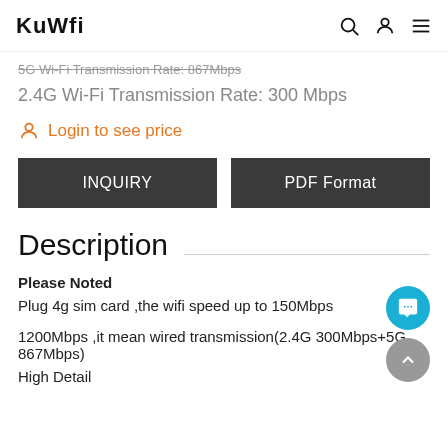KuWfi
5G Wi-Fi Transmission Rate: 867Mbps
2.4G Wi-Fi Transmission Rate: 300 Mbps
Login to see price
INQUIRY
PDF Format
Description
Please Noted
Plug 4g sim card ,the wifi speed up to 150Mbps
1200Mbps ,it mean wired transmission(2.4G 300Mbps+5G 867Mbps)
High Detail